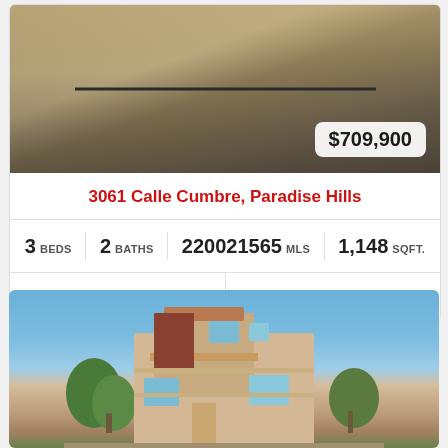[Figure (photo): Aerial view of a residential property with dry grass yard and fence, showing price badge of $709,900]
3061 Calle Cumbre, Paradise Hills
3 BEDS   2 BATHS   220021565 MLS   1,148 SQFT.
Add to Favorites   Request Info
[Figure (photo): Exterior front view of a two-story stucco and siding house with blue sky background, trees visible]